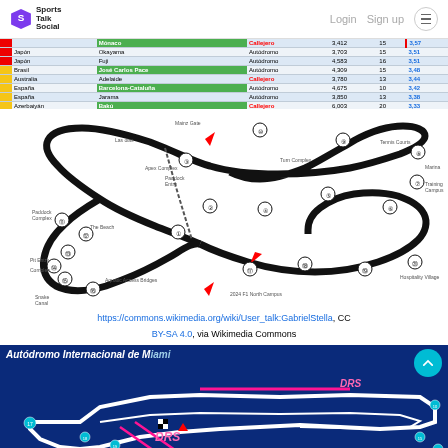Sports Talk Social | Login  Sign up
|  | País | Circuito | Tipo | Longitud | Vueltas |  |
| --- | --- | --- | --- | --- | --- | --- |
| red | Japón | Okayama | Autódromo | 3,703 | 15 | 3,51 |
| red | Japón | Fuji | Autódromo | 4,583 | 16 | 3,51 |
| yellow | Brasil | José Carlos Pace | Autódromo | 4,309 | 15 | 3,48 |
| yellow | Australia | Adelaide | Callejero | 3,780 | 13 | 3,44 |
| yellow | España | Barcelona-Cataluña | Autódromo | 4,675 | 10 | 3,42 |
| yellow | España | Jarama | Autódromo | 3,850 | 13 | 3,38 |
| yellow | Azerbaiyán | Bakú | Callejero | 6,003 | 20 | 3,33 |
[Figure (engineering-diagram): Circuit map of a Formula 1 track showing numbered corners, turn names including Mainz Gate, Tennis Courts, Marina, The Beach, Training Campus, and other landmarks. Red arrows indicate direction of travel. Track outline in black on white background.]
https://commons.wikimedia.org/wiki/User_talk:GabrielStella, CC BY-SA 4.0, via Wikimedia Commons
[Figure (engineering-diagram): Circuit map of Autódromo Internacional de Miami showing track layout with DRS zones marked in pink/magenta, numbered corners, and a teal back-to-top button overlay. Dark blue background with white track outline.]